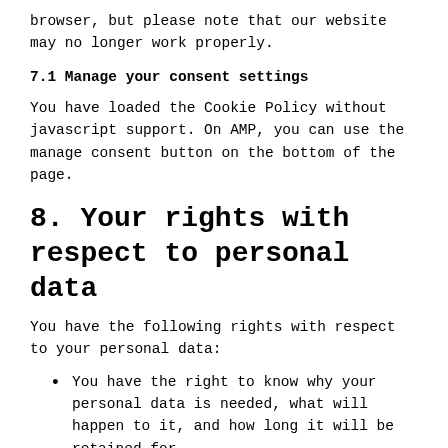You can disable the use of cookies in your browser, but please note that our website may no longer work properly.
7.1 Manage your consent settings
You have loaded the Cookie Policy without javascript support. On AMP, you can use the manage consent button on the bottom of the page.
8. Your rights with respect to personal data
You have the following rights with respect to your personal data:
You have the right to know why your personal data is needed, what will happen to it, and how long it will be retained for.
Right of access: You have the right to access